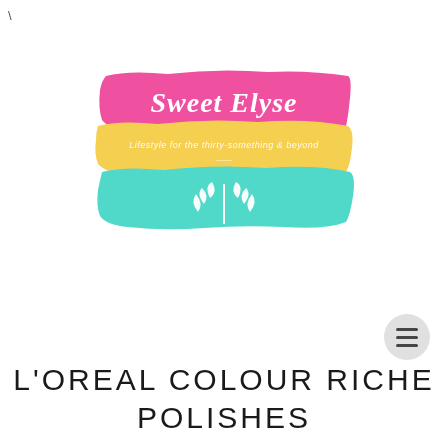[Figure (logo): Sweet Elyse blog logo with three horizontal brush strokes: pink on top with cursive 'Sweet Elyse' text, yellow in middle with italic tagline 'Lifestyle for the thirty-something & beyond', and teal/turquoise on bottom with white wheat/leaf icon.]
L'OREAL COLOUR RICHE POLISHES